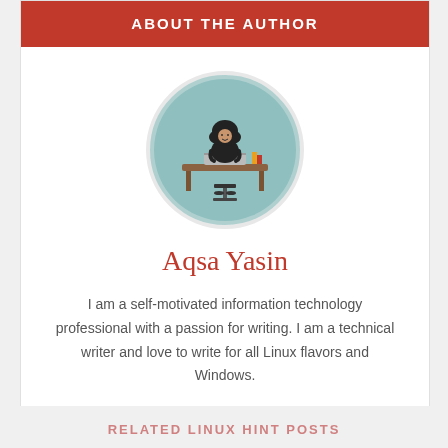ABOUT THE AUTHOR
[Figure (illustration): A cartoon avatar of a woman in a hijab sitting at a desk with a laptop, shown in a circular frame with a teal/light blue background.]
Aqsa Yasin
I am a self-motivated information technology professional with a passion for writing. I am a technical writer and love to write for all Linux flavors and Windows.
View all posts
RELATED LINUX HINT POSTS